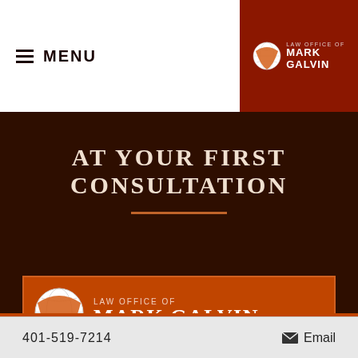[Figure (logo): Law Office of Mark Galvin logo with globe icon - small version in top right header]
MENU
AT YOUR FIRST CONSULTATION
[Figure (logo): Law Office of Mark Galvin logo with globe icon - large version in orange card]
ADDRESS:
84 Ship Street
Providence, RI 02903
PHONE:
401-519-7214     Email